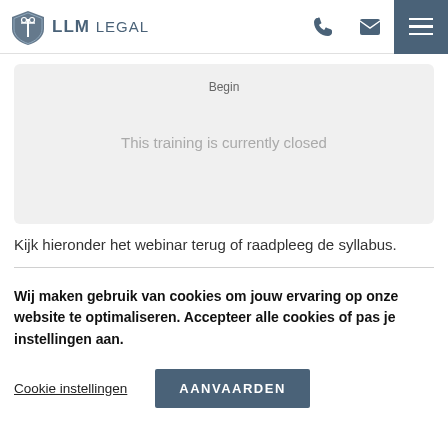LLM LEGAL
Begin

This training is currently closed
Kijk hieronder het webinar terug of raadpleeg de syllabus.
Wij maken gebruik van cookies om jouw ervaring op onze website te optimaliseren. Accepteer alle cookies of pas je instellingen aan.
Cookie instellingen   AANVAARDEN